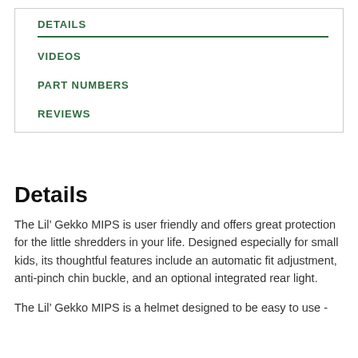DETAILS
VIDEOS
PART NUMBERS
REVIEWS
Details
The Lil’ Gekko MIPS is user friendly and offers great protection for the little shredders in your life. Designed especially for small kids, its thoughtful features include an automatic fit adjustment, anti-pinch chin buckle, and an optional integrated rear light.
The Lil’ Gekko MIPS is a helmet designed to be easy to use -